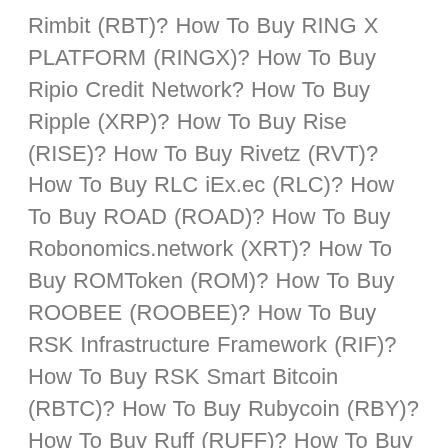Rimbit (RBT)? How To Buy RING X PLATFORM (RINGX)? How To Buy Ripio Credit Network? How To Buy Ripple (XRP)? How To Buy Rise (RISE)? How To Buy Rivetz (RVT)? How To Buy RLC iEx.ec (RLC)? How To Buy ROAD (ROAD)? How To Buy Robonomics.network (XRT)? How To Buy ROMToken (ROM)? How To Buy ROOBEE (ROOBEE)? How To Buy RSK Infrastructure Framework (RIF)? How To Buy RSK Smart Bitcoin (RBTC)? How To Buy Rubycoin (RBY)? How To Buy Ruff (RUFF)? How To Buy Rupiah Token (IDRT)? How To Buy Salt? How To Buy SaluS (SLS)? How To Buy Santiment Network Token (SAN)? How To Buy Scorum Coins (SCR)? How To Buy Scry.info (DDD)? How To Buy Seal Network (SEAL)? How To Buy SEER (SEER)? How To Buy Selfkey (KEY)? How To Buy Selfpay (SXP)? How To Buy SelfSell (SSC)? How To Buy Sense (SENSE)? How To Buy Sentinel Protocol (UPP)? How To Buy SESSIA (KICKS)? How To Buy ShareToken (SHR)? How To Buy Sharney (S)? How To Buy